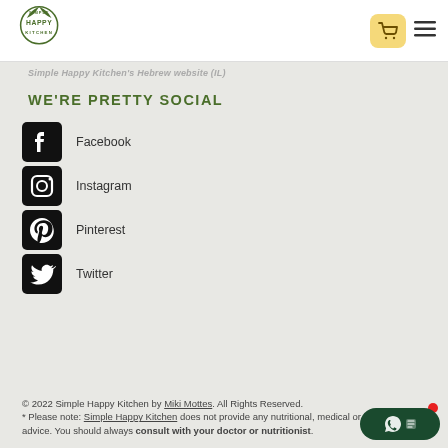[Figure (logo): Simple Happy Kitchen logo — green circular emblem with leaves and text]
Simple Happy Kitchen's Hebrew website (IL)
WE'RE PRETTY SOCIAL
Facebook
Instagram
Pinterest
Twitter
© 2022 Simple Happy Kitchen by Miki Mottes. All Rights Reserved. * Please note: Simple Happy Kitchen does not provide any nutritional, medical or health advice. You should always consult with your doctor or nutritionist.